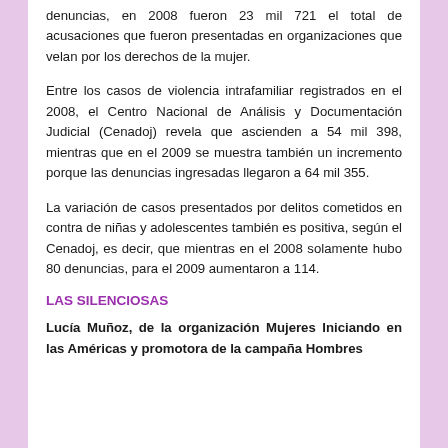denuncias, en 2008 fueron 23 mil 721 el total de acusaciones que fueron presentadas en organizaciones que velan por los derechos de la mujer.
Entre los casos de violencia intrafamiliar registrados en el 2008, el Centro Nacional de Análisis y Documentación Judicial (Cenadoj) revela que ascienden a 54 mil 398, mientras que en el 2009 se muestra también un incremento porque las denuncias ingresadas llegaron a 64 mil 355.
La variación de casos presentados por delitos cometidos en contra de niñas y adolescentes también es positiva, según el Cenadoj, es decir, que mientras en el 2008 solamente hubo 80 denuncias, para el 2009 aumentaron a 114.
LAS SILENCIOSAS
Lucía Muñoz, de la organización Mujeres Iniciando en las Américas y promotora de la campaña Hombres